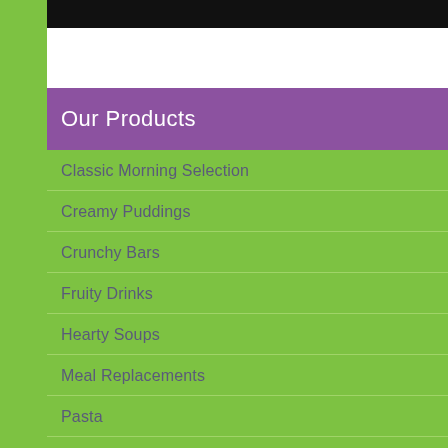[Figure (other): Black banner bar at top of page]
Our Products
Classic Morning Selection
Creamy Puddings
Crunchy Bars
Fruity Drinks
Hearty Soups
Meal Replacements
Pasta
Popular Desserts
Ready to Serve Selections